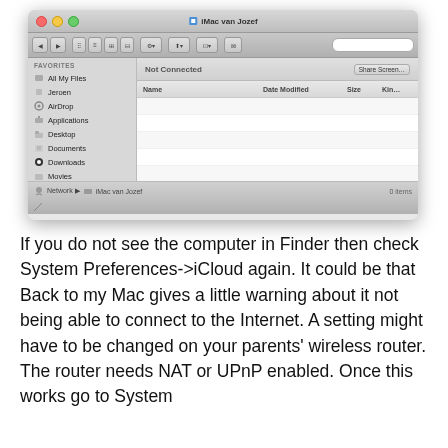[Figure (screenshot): Mac OS X Finder window showing 'iMac van Jozef' connected via network. The sidebar shows FAVORITES (All My Files, Jeroen, AirDrop, Applications, Desktop, Documents, Downloads, Movies, Music, Pictures, Projects) and SHARED section with 'iMac van Jozef' selected (highlighted in blue) and 'Stomach' below. The main content area shows 'Not Connected' with column headers Name, Date Modified, Size, Kind. Status bar shows Network > iMac van Jozef path.]
If you do not see the computer in Finder then check System Preferences->iCloud again. It could be that Back to my Mac gives a little warning about it not being able to connect to the Internet. A setting might have to be changed on your parents' wireless router. The router needs NAT or UPnP enabled. Once this works go to System